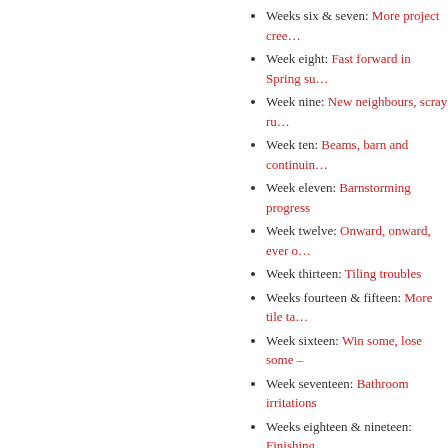Weeks six & seven: More project cree…
Week eight: Fast forward in Spring su…
Week nine: New neighbours, scray ru…
Week ten: Beams, barn and continuin…
Week eleven: Barnstorming progress
Week twelve: Onward, onward, ever o…
Week thirteen: Tiling troubles
Weeks fourteen & fifteen: More tile ta…
Week sixteen: Win some, lose some –
Week seventeen: Bathroom irritations
Weeks eighteen & nineteen: Finishing
Week twenty: Let there be lights! And
Week twenty-one: We clash with the t…
Also:
What do we hope to achieve? Our pla…
Wonder what it looked like before the photos: outside, downstairs and upsta…
Print
Tags: Expat life, Property, Restoration
This entry was posted on 22/08/2012 at 10:16 an…